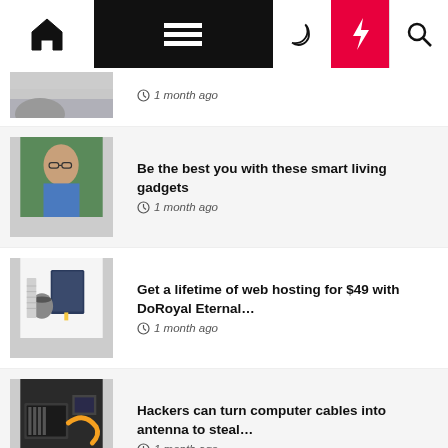Navigation bar with home, menu, moon, bolt, and search icons
1 month ago
Be the best you with these smart living gadgets
1 month ago
Get a lifetime of web hosting for $49 with DoRoyal Eternal…
1 month ago
Hackers can turn computer cables into antenna to steal…
1 month ago
Qualcomm (QCOM) earnings Q3 2022
1 month ago